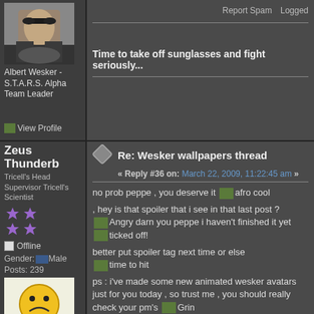[Figure (photo): Avatar photo of person with sunglasses and dark hair]
Albert Wesker - S.T.A.R.S. Alpha Team Leader
Report Spam   Logged
[Figure (other): View Profile icon/link]
Time to take off sunglasses and fight seriously...
Zeus Thunderb
Tricell's Head Supervisor
Tricell's Scientist
[Figure (other): Star rating icons (4 stars)]
Offline
Gender: Male
Posts: 239
Re: Wesker wallpapers thread
« Reply #36 on: March 22, 2009, 11:22:45 am »
no prob peppe , you deserve it [afro cool]
, hey is that spoiler that i see in that last post ? [Angry] darn you peppe i haven't finished it yet [ticked off!]
better put spoiler tag next time or else [time to hit]
ps : i've made some new animated wesker avatars just for you today , so trust me , you should really check your pm's [Grin]
[Figure (other): Tinypic/imageshack smiley avatar at bottom left]